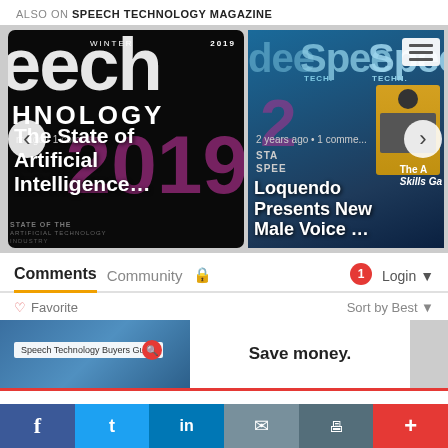ALSO ON SPEECH TECHNOLOGY MAGAZINE
[Figure (screenshot): Carousel showing two magazine cover cards. Left: Speech Technology Magazine Winter 2019 cover with 'The State of Artificial Intelligence' title on dark background. Right: Multiple Speech Technology magazine covers stacked, with 'Loquendo Presents New Male Voice ...' title.]
Comments  Community  🔒  1  Login
♡ Favorite    Sort by Best ▾
[Figure (screenshot): Advertisement banner showing Speech Technology Buyers Guide image on left and 'Save money.' text on right.]
f  t  in  ✉  🖨  +